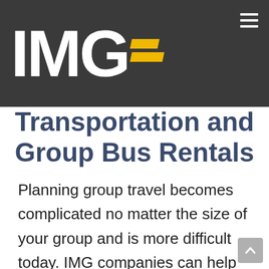[Figure (logo): IMG logo on dark gray background with yellow diagonal dashes, and hamburger menu icon on the right]
Transportation and Group Bus Rentals
Planning group travel becomes complicated no matter the size of your group and is more difficult today. IMG companies can help plan your private group transportation. Whether you are a professional tour operator / travel planner or an individual planning a private event